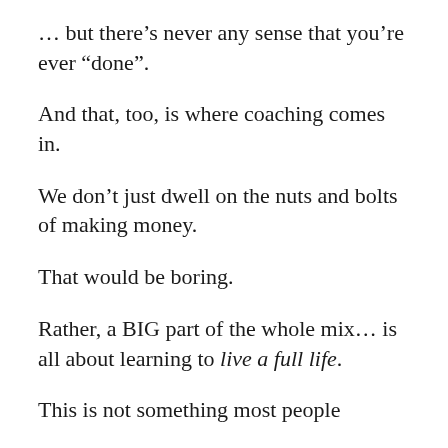… but there's never any sense that you're ever “done”.
And that, too, is where coaching comes in.
We don’t just dwell on the nuts and bolts of making money.
That would be boring.
Rather, a BIG part of the whole mix… is all about learning to live a full life.
This is not something most people